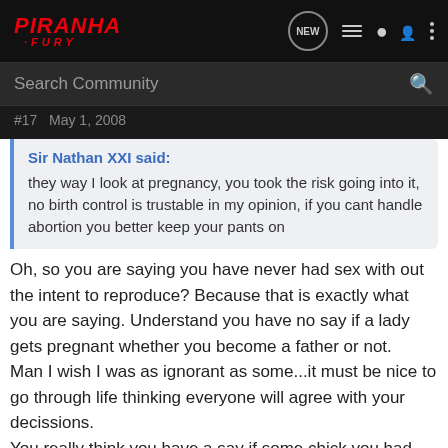[Figure (screenshot): Piranha Fury forum website logo and navigation bar]
[Figure (screenshot): Search Community search bar]
#17  May 1, 2008
Sir Nathan XXI said:
they way I look at pregnancy, you took the risk going into it, no birth control is trustable in my opinion, if you cant handle abortion you better keep your pants on
Oh, so you are saying you have never had sex with out the intent to reproduce? Because that is exactly what you are saying. Understand you have no say if a lady gets pregnant whether you become a father or not.
Man I wish I was as ignorant as some...it must be nice to go through life thinking everyone will agree with your decissions.
You really think you have a say if some chick you had sex with in a bar, when you were so loaded you dont even remember, decides to have the kid.... ignorant